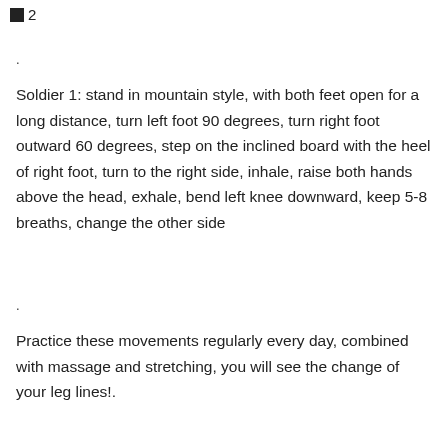2
.
Soldier 1: stand in mountain style, with both feet open for a long distance, turn left foot 90 degrees, turn right foot outward 60 degrees, step on the inclined board with the heel of right foot, turn to the right side, inhale, raise both hands above the head, exhale, bend left knee downward, keep 5-8 breaths, change the other side
.
Practice these movements regularly every day, combined with massage and stretching, you will see the change of your leg lines!.